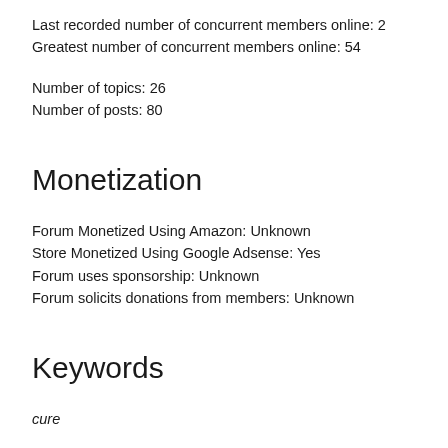Last recorded number of concurrent members online: 2
Greatest number of concurrent members online: 54
Number of topics: 26
Number of posts: 80
Monetization
Forum Monetized Using Amazon: Unknown
Store Monetized Using Google Adsense: Yes
Forum uses sponsorship: Unknown
Forum solicits donations from members: Unknown
Keywords
cure
Niches
This forum has been tagged with being related to the following niches: